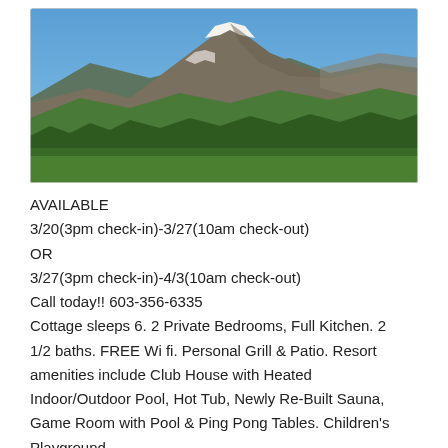[Figure (photo): Scenic mountain landscape with snow-capped peaks, green forested hills, and a clear blue sky.]
AVAILABLE
3/20(3pm check-in)-3/27(10am check-out)
OR
3/27(3pm check-in)-4/3(10am check-out)
Call today!! 603-356-6335
Cottage sleeps 6. 2 Private Bedrooms, Full Kitchen. 2 1/2 baths. FREE Wi fi. Personal Grill & Patio. Resort amenities include Club House with Heated Indoor/Outdoor Pool, Hot Tub, Newly Re-Built Sauna, Game Room with Pool & Ping Pong Tables. Children's Playground